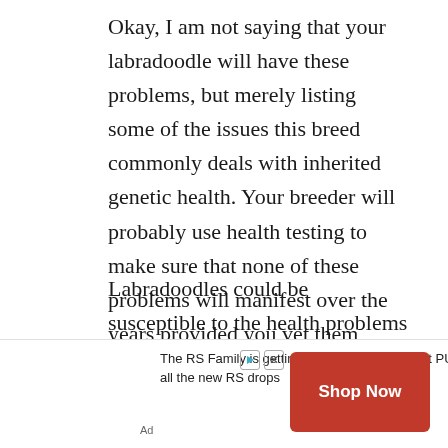Okay, I am not saying that your labradoodle will have these problems, but merely listing some of the issues this breed commonly deals with inherited genetic health. Your breeder will probably use health testing to make sure that none of these problems will manifest over the years provided you vet them properly.
Labradoodles could be susceptible to the health problems associated with the Labrador, Standard Poodle, or Miniature Poodle, but the genetic diversity of these breeds could lower their risk of developing certain inherited diseases.
The RS Family is getting bigger every day. Visit PUMA.com to see all the new RS drops